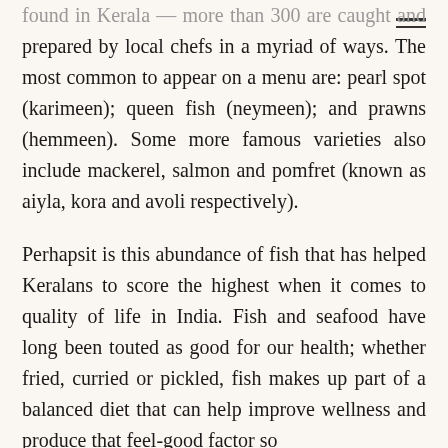found in Kerala — more than 300 are caught and prepared by local chefs in a myriad of ways. The most common to appear on a menu are: pearl spot (karimeen); queen fish (neymeen); and prawns (hemmeen). Some more famous varieties also include mackerel, salmon and pomfret (known as aiyla, kora and avoli respectively).
Perhapsit is this abundance of fish that has helped Keralans to score the highest when it comes to quality of life in India. Fish and seafood have long been touted as good for our health; whether fried, curried or pickled, fish makes up part of a balanced diet that can help improve wellness and produce that feel-good factor so